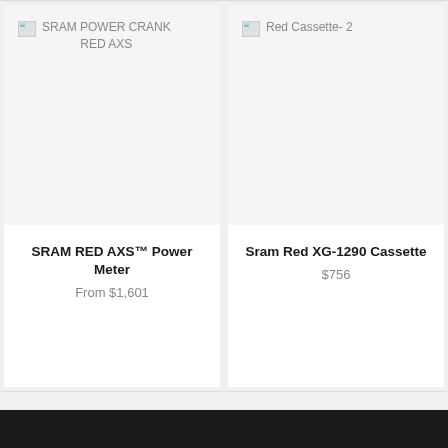[Figure (photo): Broken image placeholder for SRAM POWER CRANK RED AXS product]
SRAM RED AXS™ Power Meter
From $1,601
[Figure (photo): Broken image placeholder for Red Cassette- 2 product]
Sram Red XG-1290 Cassette
$756
Main